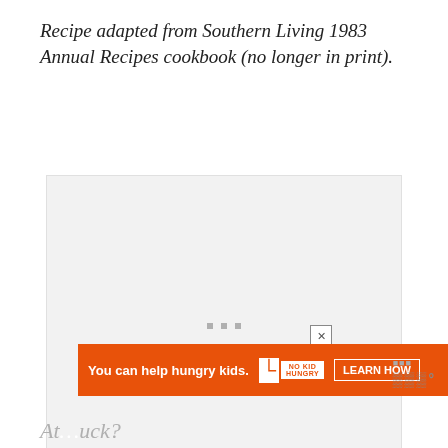Recipe adapted from Southern Living 1983 Annual Recipes cookbook (no longer in print).
[Figure (photo): A loading/placeholder image area shown as a light gray box with three small gray squares centered in it, indicating an image is loading.]
[Figure (other): An advertisement banner: orange background with text 'You can help hungry kids.' followed by a No Kid Hungry logo and a 'LEARN HOW' button. A close (X) button is in the upper right of the ad.]
At... uck?